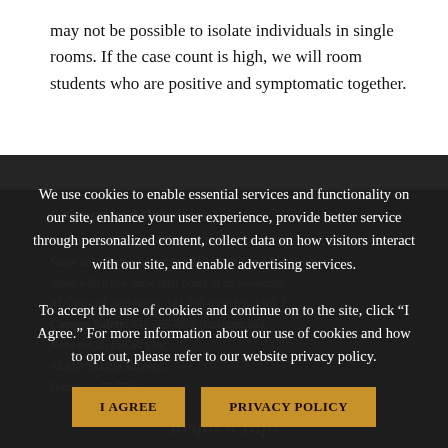may not be possible to isolate individuals in single rooms. If the case count is high, we will room students who are positive and symptomatic together.
Contacts and Resources
Student Health and Wellness (SHAW): 541-265-3530
Nurse on call after-hours: 541-265-3530 (press 2 after-hours), speak with a live nurse after hours or on weekends.
RLC on-call after-hours: 541-265-3530 ext. 5105 1
Campus Safety: 541-265-3535 (emergencies)
Need to Call In/Call Out: ...
ALMO Student Success...
Dining 54-55-5789...
We use cookies to enable essential services and functionality on our site, enhance your user experience, provide better service through personalized content, collect data on how visitors interact with our site, and enable advertising services.
To accept the use of cookies and continue on to the site, click “I Agree.” For more information about our use of cookies and how to opt out, please refer to our website privacy policy.
I AGREE
PRIVACY POLICY
Request Info